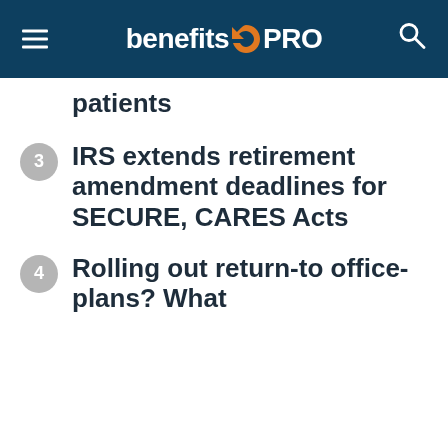benefitsPRO
patients
3 IRS extends retirement amendment deadlines for SECURE, CARES Acts
4 Rolling out return-to office-plans? What